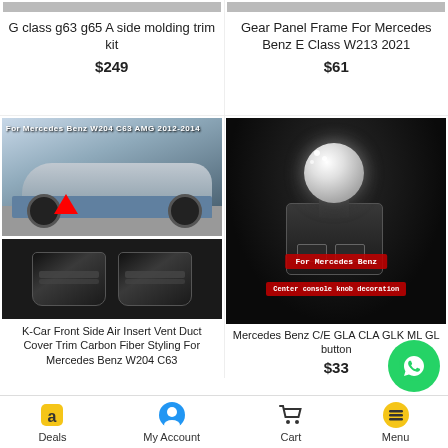G class g63 g65 A side molding trim kit
$249
Gear Panel Frame For Mercedes Benz E Class W213 2021
$61
[Figure (photo): Mercedes Benz W204 C63 AMG 2012-2014 silver convertible car with red arrow pointing to side air vent area]
[Figure (photo): Two black carbon fiber vent duct cover trim pieces for Mercedes Benz W204 C63]
[Figure (photo): Mercedes Benz center console gear knob with crystal/diamond decoration, dark interior background, red label text]
K-Car Front Side Air Insert Vent Duct Cover Trim Carbon Fiber Styling For Mercedes Benz W204 C63
Mercedes Benz C/E GLA CLA GLK ML GL button
$33
Deals   My Account   Cart   Menu